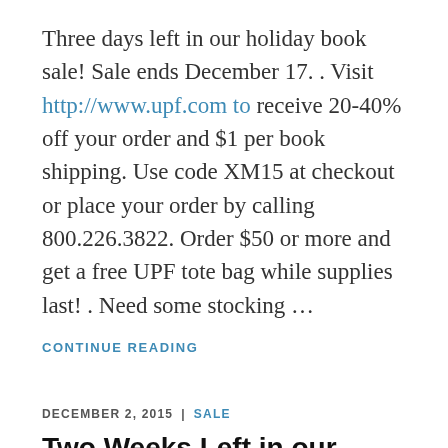Three days left in our holiday book sale! Sale ends December 17. . Visit http://www.upf.com to receive 20-40% off your order and $1 per book shipping. Use code XM15 at checkout or place your order by calling 800.226.3822. Order $50 or more and get a free UPF tote bag while supplies last! . Need some stocking …
CONTINUE READING
DECEMBER 2, 2015  |  SALE
Two Weeks Left in our Holiday Sale
Don't miss out! These books and more are